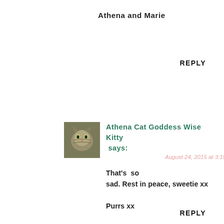Athena and Marie
REPLY
[Figure (photo): Small thumbnail photo of a tabby cat (Athena), used as commenter avatar]
Athena Cat Goddess Wise Kitty says:
August 24, 2015 at 3:15 AM
That's so sad. Rest in peace, sweetie xx
Purrs xx
Athena and Marie
REPLY